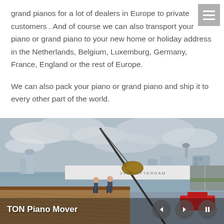grand pianos for a lot of dealers in Europe to private customers . And of course we can also transport your piano or grand piano to your new home or holiday address in the Netherlands, Belgium, Luxemburg, Germany, France, England or the rest of Europe.
We can also pack your piano or grand piano and ship it to every other part of the world.
[Figure (photo): A crane on a harbor deck (with text '255 ROTTERDAM' visible on a white vessel) hoisting a wrapped grand piano, with two workers on the wooden dock. A red crane truck is visible at lower right. City skyline and cloudy sky in background. Caption: TON Piano Mover.]